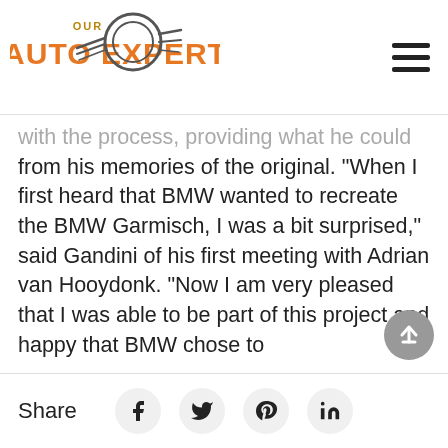Our Auto Expert
with the process, providing what he could from his memories of the original. “When I first heard that BMW wanted to recreate the BMW Garmisch, I was a bit surprised,” said Gandini of his first meeting with Adrian van Hooydonk. “Now I am very pleased that I was able to be part of this project and happy that BMW chose to
Share